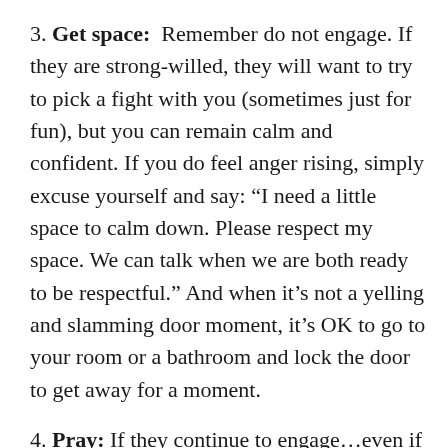3. Get space: Remember do not engage. If they are strong-willed, they will want to try to pick a fight with you (sometimes just for fun), but you can remain calm and confident. If you do feel anger rising, simply excuse yourself and say: “I need a little space to calm down. Please respect my space. We can talk when we are both ready to be respectful.” And when it’s not a yelling and slamming door moment, it’s OK to go to your room or a bathroom and lock the door to get away for a moment.
4. Pray: If they continue to engage…even if they are banging on your door…just say a prayer. Pray for YOUR peace but also pray for THEIRS. It’s OK to let them be upset until you are both calm. And don’t forget the powerful When/Then Tool. “When you’re